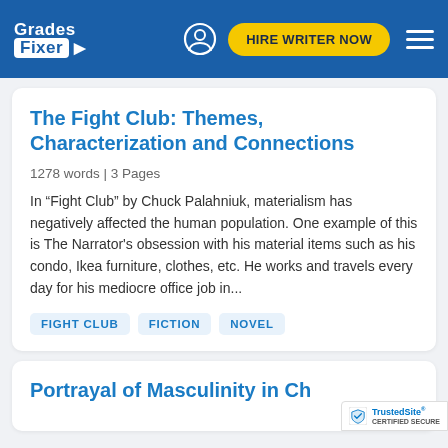[Figure (screenshot): Grades Fixer website navigation bar with logo, user icon, yellow 'HIRE WRITER NOW' button, and hamburger menu on blue background]
The Fight Club: Themes, Characterization and Connections
1278 words | 3 Pages
In “Fight Club” by Chuck Palahniuk, materialism has negatively affected the human population. One example of this is The Narrator's obsession with his material items such as his condo, Ikea furniture, clothes, etc. He works and travels every day for his mediocre office job in...
FIGHT CLUB
FICTION
NOVEL
Portrayal of Masculinity in Ch...